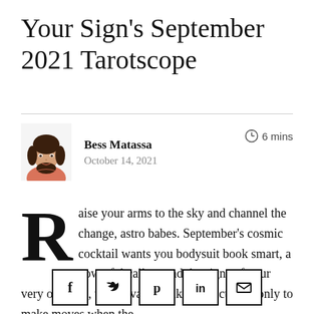Your Sign's September 2021 Tarotscope
[Figure (photo): Author headshot of Bess Matassa, a woman with dark hair wearing a coral/pink top]
Bess Matassa
October 14, 2021
⏱ 6 mins
Raise your arms to the sky and channel the change, astro babes. September's cosmic cocktail wants you bodysuit book smart, a powerful call to read the signs of your very own life, to cultivate catlike instincts and only to make moves when the
[Figure (infographic): Social media share buttons: Facebook (f), Twitter (bird), Pinterest (p), LinkedIn (in), Email (envelope)]